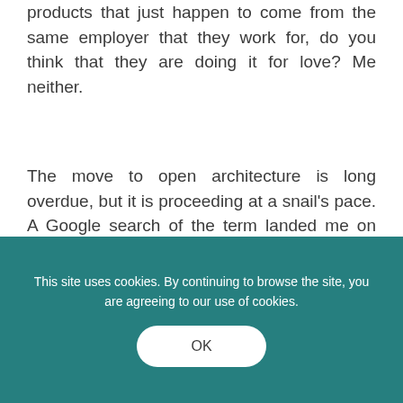products that just happen to come from the same employer that they work for, do you think that they are doing it for love? Me neither.
The move to open architecture is long overdue, but it is proceeding at a snail's pace. A Google search of the term landed me on the website of a large US trust company, which had a brief document that talked about the use of open
This site uses cookies. By continuing to browse the site, you are agreeing to our use of cookies.
OK